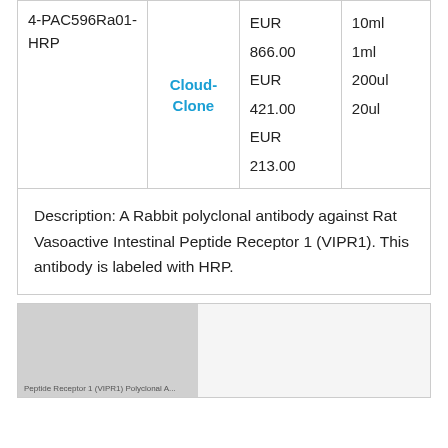| Product | Supplier | Price | Size |
| --- | --- | --- | --- |
| 4-PAC596Ra01-HRP | Cloud-Clone | EUR 866.00
EUR 421.00
EUR 213.00 | 10ml
1ml
200ul
20ul |
Description: A Rabbit polyclonal antibody against Rat Vasoactive Intestinal Peptide Receptor 1 (VIPR1). This antibody is labeled with HRP.
[Figure (photo): Partial image thumbnail showing a product or antibody-related figure, with small label text reading 'Peptide Receptor 1 (VIPR1) Polyclonal A...']